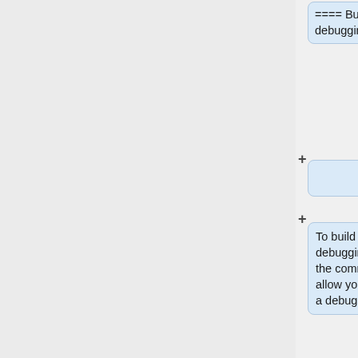==== Build GEOS-Chem with debugging options ====
To build GEOS-Chem with debugging flags turned on, use the command below.  This will allow you to run GEOS-Chem in a debugger such as gdb:
make -j4 build DEBUG=y BOUNDS=y FPEX=y